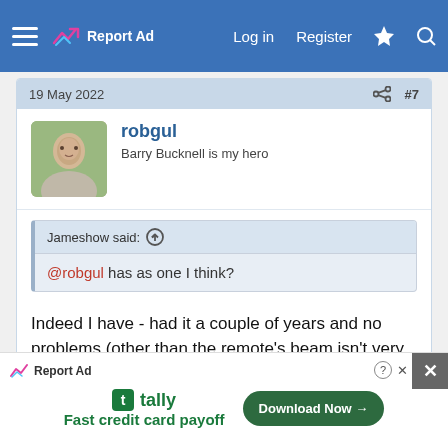Log in  Register
19 May 2022  #7
robgul
Barry Bucknell is my hero
Jameshow said: ↑
@robgul has as one I think?
Indeed I have - had it a couple of years and no problems (other than the remote's beam isn't very wide so you have to point it carefully) - mine's in cradle attached to the ceiling
[Figure (photo): Dark image preview strip at bottom of post]
Report Ad  tally  Fast credit card payoff  Download Now →